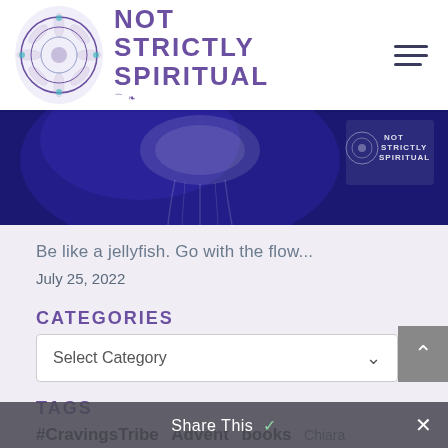NOT STRICTLY SPIRITUAL
[Figure (photo): Blue-toned jellyfish photo with Not Strictly Spiritual watermark/badge in upper right]
Be like a jellyfish. Go with the flow...
July 25, 2022
CATEGORIES
Select Category
TAGS
#CravingsTribe  Advent  books  Chiara
children  Christmas  church  Cravings
Share This